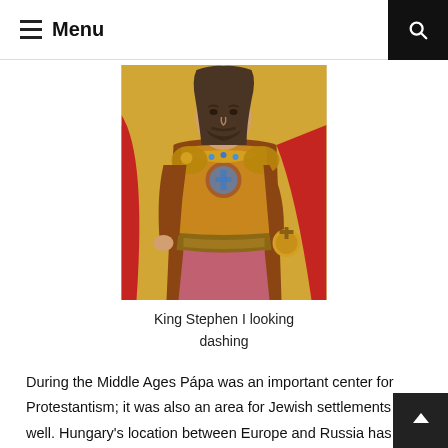Menu
[Figure (illustration): Painting of King Stephen I of Hungary, depicted in ornate royal robes with jeweled decorations and a red cape, holding a cross-topped orb. The figure has long hair and a beard. Painted on a golden background.]
King Stephen I looking dashing
During the Middle Ages Pápa was an important center for Protestantism; it was also an area for Jewish settlements well. Hungary's location between Europe and Russia has